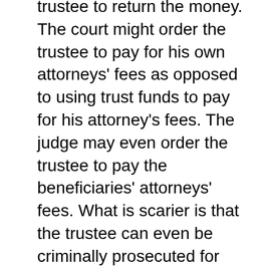trustee to return the money. The court might order the trustee to pay for his own attorneys' fees as opposed to using trust funds to pay for his attorney's fees. The judge may even order the trustee to pay the beneficiaries' attorneys' fees. What is scarier is that the trustee can even be criminally prosecuted for stealing. That's right, a criminal prosecution even if the trustee is one of the beneficiaries of the trust and even if the amount he took is less than his stake in the trust account. The judge can refer the case to the District Attorney's office, which has the power to prosecute the case in criminal court, although that rarely happens.
To sum up, in some trusts a trustee can also be a beneficiary, and in some trusts that cannot be done.